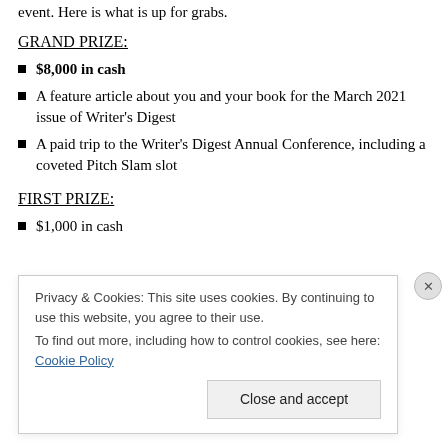event. Here is what is up for grabs.
GRAND PRIZE:
$8,000 in cash
A feature article about you and your book for the March 2021 issue of Writer's Digest
A paid trip to the Writer's Digest Annual Conference, including a coveted Pitch Slam slot
FIRST PRIZE:
$1,000 in cash
Privacy & Cookies: This site uses cookies. By continuing to use this website, you agree to their use. To find out more, including how to control cookies, see here: Cookie Policy
Close and accept